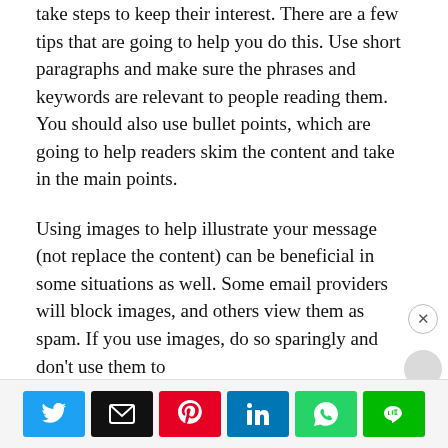take steps to keep their interest. There are a few tips that are going to help you do this. Use short paragraphs and make sure the phrases and keywords are relevant to people reading them. You should also use bullet points, which are going to help readers skim the content and take in the main points.
Using images to help illustrate your message (not replace the content) can be beneficial in some situations as well. Some email providers will block images, and others view them as spam. If you use images, do so sparingly and don't use them to
[Figure (infographic): Social share buttons row: Twitter (blue), Email (black), Pinterest (red), LinkedIn (blue), WhatsApp (green), LINE (green)]